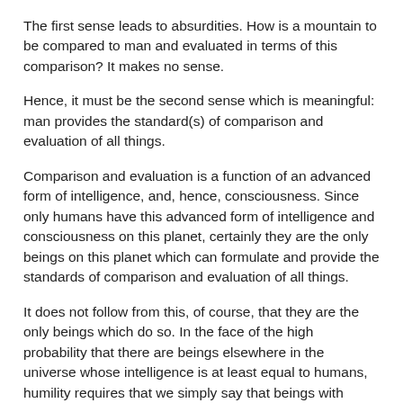The first sense leads to absurdities. How is a mountain to be compared to man and evaluated in terms of this comparison? It makes no sense.
Hence, it must be the second sense which is meaningful: man provides the standard(s) of comparison and evaluation of all things.
Comparison and evaluation is a function of an advanced form of intelligence, and, hence, consciousness. Since only humans have this advanced form of intelligence and consciousness on this planet, certainly they are the only beings on this planet which can formulate and provide the standards of comparison and evaluation of all things.
It does not follow from this, of course, that they are the only beings which do so. In the face of the high probability that there are beings elsewhere in the universe whose intelligence is at least equal to humans, humility requires that we simply say that beings with advanced intelligence are the only kind of beings which can formulate standards for comparing and evaluating all things.